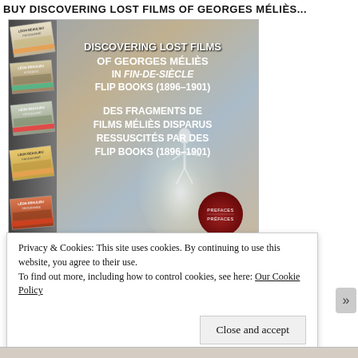BUY DISCOVERING LOST FILMS OF GEORGES MÉLIÈS...
[Figure (photo): Book cover of 'Discovering Lost Films of Georges Méliès in Fin-de-Siècle Flip Books (1896–1901)' with bilingual French subtitle 'Des Fragments de Films Méliès Disparus Ressuscités par des Flip Books (1896–1901)'. The cover shows a collection of flip books on the left side against a gradient background with a dancer silhouette and a dark red circular emblem at bottom right labeled PREFACES / PRÉFACES.]
Privacy & Cookies: This site uses cookies. By continuing to use this website, you agree to their use.
To find out more, including how to control cookies, see here: Our Cookie Policy
Close and accept